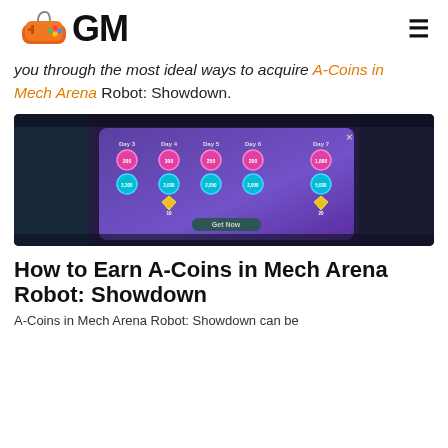[Figure (logo): GM gaming logo with orange gamepad icon and bold GM text]
you through the most ideal ways to acquire A-Coins in Mech Arena Robot: Showdown.
[Figure (screenshot): Screenshot of Mech Arena Robot: Showdown game showing a daily login reward dialog with Day 3 through Day 7 rewards including A-Coins and gems with a Get Now button]
How to Earn A-Coins in Mech Arena Robot: Showdown
A-Coins in Mech Arena Robot: Showdown can be